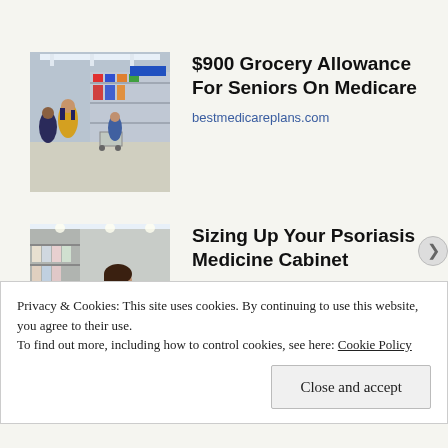[Figure (photo): People shopping in a grocery store aisle with carts]
$900 Grocery Allowance For Seniors On Medicare
bestmedicareplans.com
[Figure (photo): Woman browsing products in a store aisle]
Sizing Up Your Psoriasis Medicine Cabinet
HealthCentral
Privacy & Cookies: This site uses cookies. By continuing to use this website, you agree to their use.
To find out more, including how to control cookies, see here: Cookie Policy
Close and accept